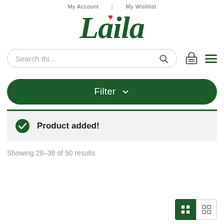My Account | My Wishlist
[Figure (logo): Laila logo in dark green italic serif font with a red heart above the letter i]
[Figure (other): Search bar with placeholder text 'Search thi...' and search icon, plus basket icon and hamburger menu icon]
[Figure (other): Dark green Filter button with dropdown chevron]
Product added!
Showing 28-36 of 50 results
[Figure (other): View toggle buttons: active grid view (dark green) and list view]